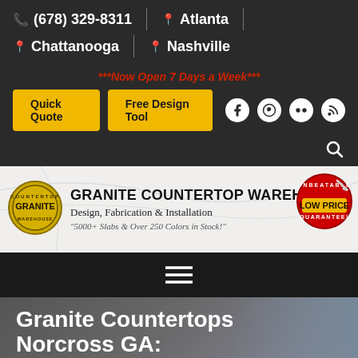(678) 329-8311 | Atlanta | Chattanooga | Nashville
***Now Open 7 Days a Week***
Quick Quote | Free Design Tool
[Figure (logo): Granite Countertop Warehouse logo with text: GRANITE COUNTERTOP WAREHOUSE, Design, Fabrication & Installation, "5000+ Slabs & Over 250 Colors in Stock!" and Unbeatable Low Price Guarantee badge]
[Figure (other): Hamburger menu icon (three horizontal lines) on dark background]
Granite Countertops Norcross GA: